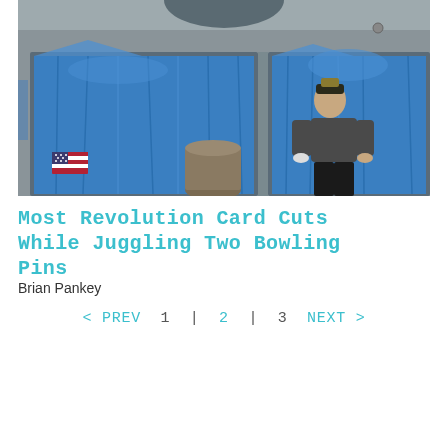[Figure (photo): A man standing in front of a building with two large garage doors covered in blue tarps. A US flag icon is visible in the lower left of the image.]
Most Revolution Card Cuts While Juggling Two Bowling Pins
Brian Pankey
< PREV  1  |  2  |  3  NEXT >